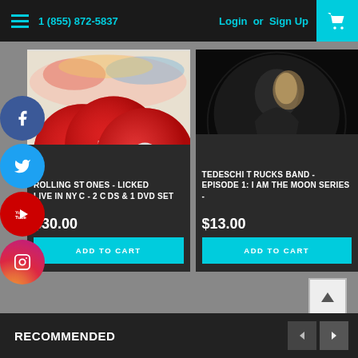1 (855) 872-5837  Login or Sign Up
[Figure (photo): Rolling Stones CDs and DVD set product image]
ROLLING STONES - LICKED LIVE IN NYC - 2 CDs & 1 DVD SET
$30.00
ADD TO CART
[Figure (photo): Tedeschi Trucks Band album art - dark monochrome image]
TEDESCHI TRUCKS BAND -EPISODE 1: I AM THE MOON SERIES -
$13.00
ADD TO CART
RECOMMENDED